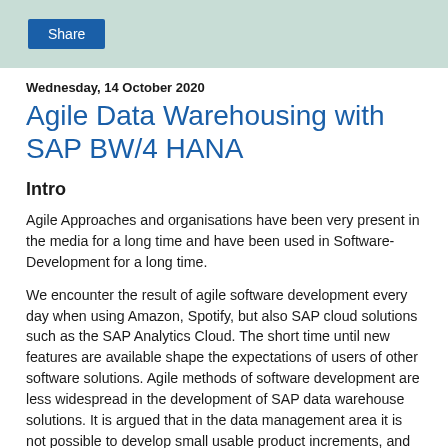Share
Wednesday, 14 October 2020
Agile Data Warehousing with SAP BW/4 HANA
Intro
Agile Approaches and organisations have been very present in the media for a long time and have been used in Software-Development for a long time.
We encounter the result of agile software development every day when using Amazon, Spotify, but also SAP cloud solutions such as the SAP Analytics Cloud. The short time until new features are available shape the expectations of users of other software solutions. Agile methods of software development are less widespread in the development of SAP data warehouse solutions. It is argued that in the data management area it is not possible to develop small usable product increments, and that agile development methods are